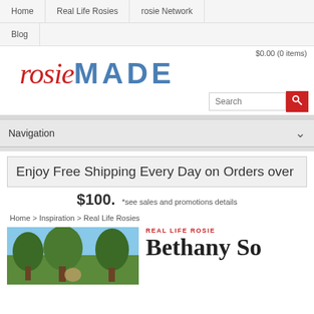Home | Real Life Rosies | rosie Network | Blog
$0.00 (0 items)
rosieMade
Navigation
Enjoy Free Shipping Every Day on Orders over $100. *see sales and promotions details
Home > Inspiration > Real Life Rosies
REAL LIFE ROSIE
Bethany So